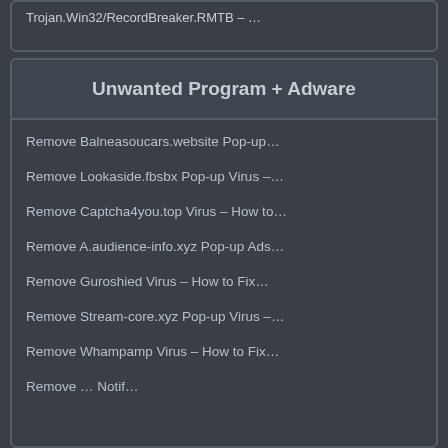Trojan.Win32/RecordBreaker.RMTB – …
Unwanted Program + Adware
Remove Balneasoucars.website Pop-up…
Remove Lookaside.fbsbx Pop-up Virus –…
Remove Captcha4you.top Virus – How to…
Remove A.audience-info.xyz Pop-up Ads…
Remove Guroshied Virus – How to Fix…
Remove Stream-core.xyz Pop-up Virus –…
Remove Whampamp Virus – How to Fix…
Remove … Notif…